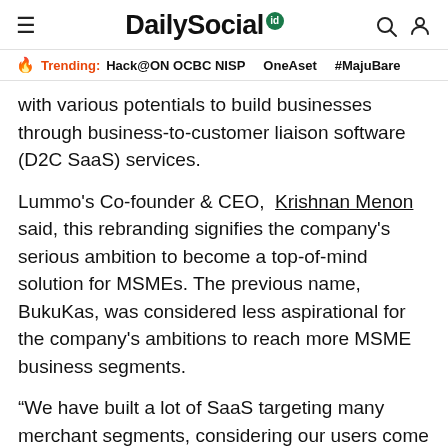DailySocial id
🔥 Trending: Hack@ON OCBC NISP   OneAset   #MajuBare
with various potentials to build businesses through business-to-customer liaison software (D2C SaaS) services.
Lummo's Co-founder & CEO,  Krishnan Menon said, this rebranding signifies the company's serious ambition to become a top-of-mind solution for MSMEs. The previous name, BukuKas, was considered less aspirational for the company's ambitions to reach more MSME business segments.
“We have built a lot of SaaS targeting many merchant segments, considering our users come